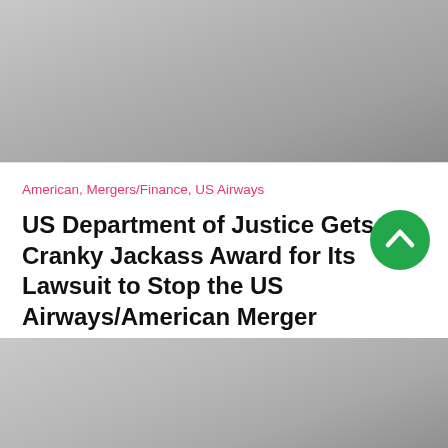[Figure (photo): Gray gradient image placeholder at top of page]
American, Mergers/Finance, US Airways
US Department of Justice Gets a Cranky Jackass Award for Its Lawsuit to Stop the US Airways/American Merger
[Figure (other): Green circular button with upward chevron arrow]
[Figure (photo): Gray gradient image placeholder at bottom of page]